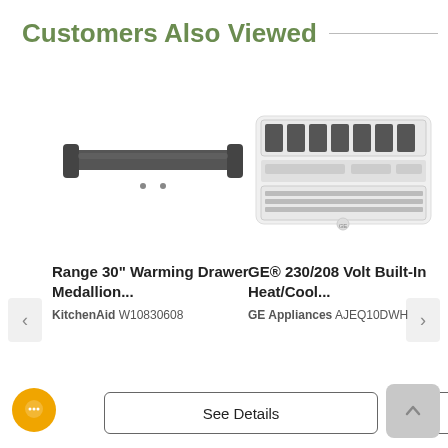Customers Also Viewed
[Figure (photo): Range 30" Warming Drawer Medallion - a metal drawer handle bar in dark bronze/black finish]
Range 30" Warming Drawer Medallion...
KitchenAid W10830608
[Figure (photo): GE 230/208 Volt Built-In Heat/Cool air conditioner unit, white, with horizontal grill vents]
GE® 230/208 Volt Built-In Heat/Cool...
GE Appliances AJEQ10DWH
See Details
See Details